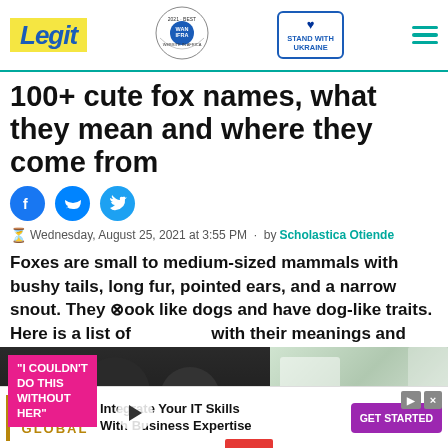Legit | WAN-IFRA 2021 Best News Website in Africa | STAND WITH UKRAINE
100+ cute fox names, what they mean and where they come from
Wednesday, August 25, 2021 at 3:55 PM · by Scholastica Otiende
Foxes are small to medium-sized mammals with bushy tails, long fur, pointed ears, and a narrow snout. They look like dogs and have dog-like traits. Here is a list of with their meanings and
[Figure (screenshot): Video panel with pink label reading 'I COULDN'T DO THIS WITHOUT HER' and two people in dark clothing; red down-arrow button; right side shows snowy outdoor background]
[Figure (infographic): Purdue University Global advertisement banner: 'Integrate Your IT Skills With Business Expertise' with GET STARTED button]